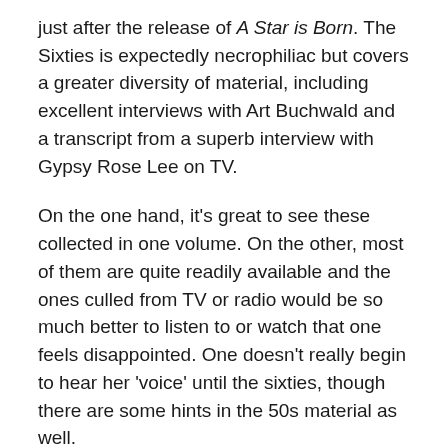just after the release of A Star is Born. The Sixties is expectedly necrophiliac but covers a greater diversity of material, including excellent interviews with Art Buchwald and a transcript from a superb interview with Gypsy Rose Lee on TV.
On the one hand, it's great to see these collected in one volume. On the other, most of them are quite readily available and the ones culled from TV or radio would be so much better to listen to or watch that one feels disappointed. One doesn't really begin to hear her 'voice' until the sixties, though there are some hints in the 50s material as well.
There's no question that this is rich source material; and that Randy L. Schmidt has done a good job of collating it together. But reading through the material one wishes someone had offered an analysis or more of a context for each of those periods covered as it raises a lot of questions